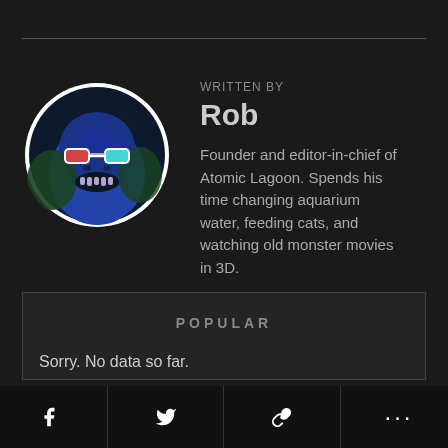[Figure (illustration): Circular avatar image of a blue Godzilla-like dinosaur wearing red-cyan 3D glasses, with a white circular border, on a dark background]
WRITTEN BY
Rob
Founder and editor-in-chief of Atomic Lagoon. Spends his time changing aquarium water, feeding cats, and watching old monster movies in 3D.
POPULAR
Sorry. No data so far.